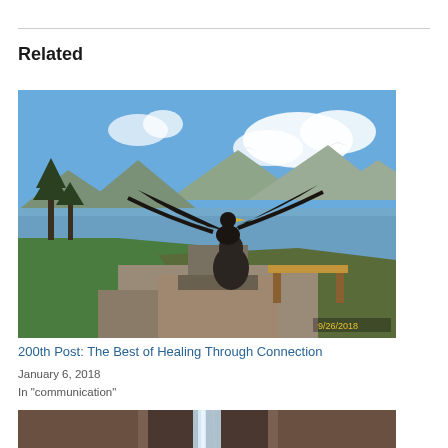Related
[Figure (photo): Bronze eagle statue with wings spread, perched on a rock with a bear below, overlooking a mountain lake with blue sky and clouds. Date stamp reads 9/26/2018.]
200th Post: The Best of Healing Through Connection
January 6, 2018
In "communication"
[Figure (photo): View of a narrow waterfall flowing down a rocky canyon slot.]